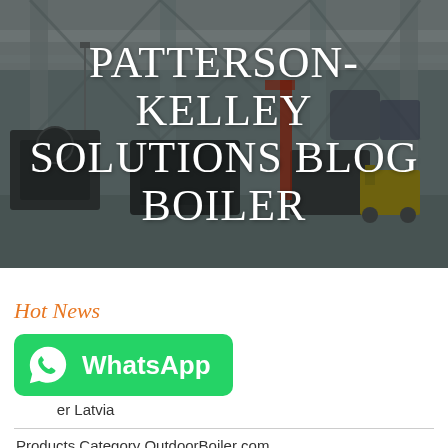[Figure (photo): Industrial boiler manufacturing facility interior with overhead cranes, structural steel framework, large industrial equipment, and boilers on the floor. Dark overlay applied. Text overlay reads PATTERSON-KELLEY SOLUTIONS BLOG BOILER in white uppercase serif letters.]
PATTERSON-KELLEY SOLUTIONS BLOG BOILER
Hot News
[Figure (logo): WhatsApp green banner button with WhatsApp phone icon and text 'WhatsApp']
er Latvia
Products Category OutdoorBoiler com